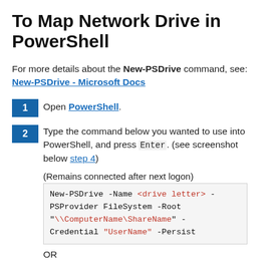To Map Network Drive in PowerShell
For more details about the New-PSDrive command, see: New-PSDrive - Microsoft Docs
1 Open PowerShell.
2 Type the command below you wanted to use into PowerShell, and press Enter. (see screenshot below step 4)
(Remains connected after next logon)
New-PSDrive -Name <drive letter> -PSProvider FileSystem -Root "\\ComputerName\ShareName" -Credential "UserName" -Persist
OR